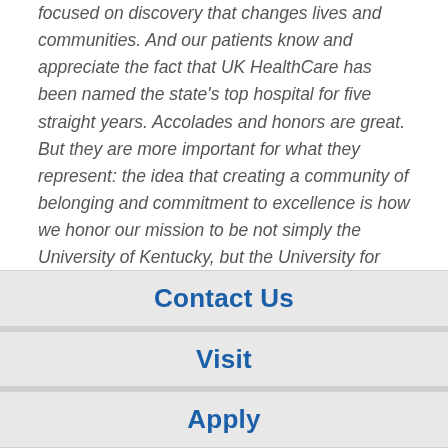focused on discovery that changes lives and communities. And our patients know and appreciate the fact that UK HealthCare has been named the state's top hospital for five straight years. Accolades and honors are great. But they are more important for what they represent: the idea that creating a community of belonging and commitment to excellence is how we honor our mission to be not simply the University of Kentucky, but the University for Kentucky.
Contact Us
Visit
Apply